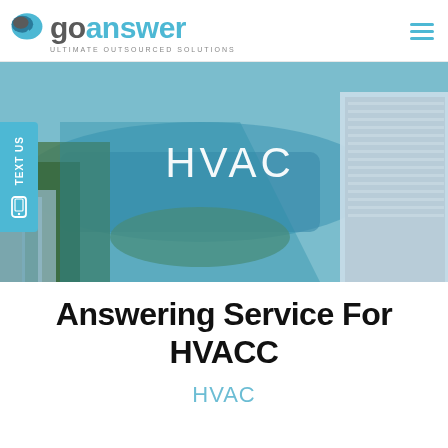[Figure (logo): GoAnswer logo with speech bubble icon and tagline 'ULTIMATE OUTSOURCED SOLUTIONS']
[Figure (photo): Aerial photo of Miami cityscape with waterway, buildings and a tall modern skyscraper, with the word 'HVAC' overlaid in white text]
Answering Service For HVACC
HVAC